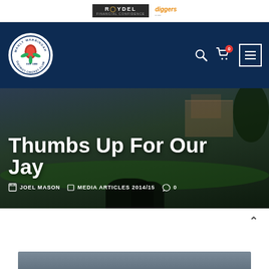[Figure (screenshot): Sponsor bar with Rwydel and Diggers logos]
Manly Warringah District Cricket Club navigation header with logo, search, cart (0), and menu icons
Thumbs Up For Our Jay
JOEL MASON   MEDIA ARTICLES 2014/15   0
[Figure (photo): Cricket ground hero image with dark overlay, people silhouetted in foreground]